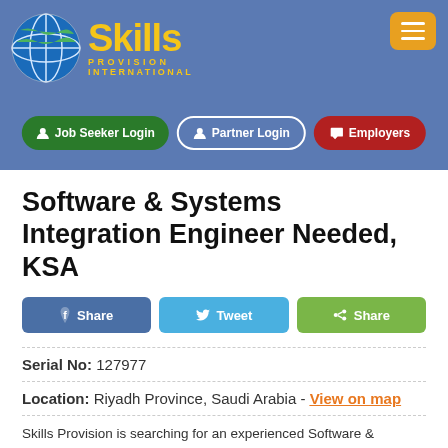[Figure (logo): Skills Provision International logo with globe and yellow text]
Job Seeker Login | Partner Login | Employers
Software & Systems Integration Engineer Needed, KSA
Share | Tweet | Share
Serial No: 127977
Location: Riyadh Province, Saudi Arabia - View on map
Skills Provision is searching for an experienced Software & Systems Integration Engineer to join a globally respected supplier